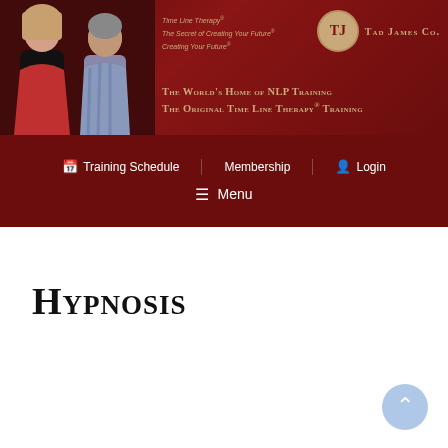[Figure (photo): Banner with two people (man and woman) on dark red background, Tad James Co. logo, taglines: Time Line Therapy®, The Secret of Creating Your Future®, Creating Your Future®, The World's Home of NLP Training, The Original Time Line Therapy® Training]
Training Schedule   Membership   Login
≡ Menu
Hypnosis